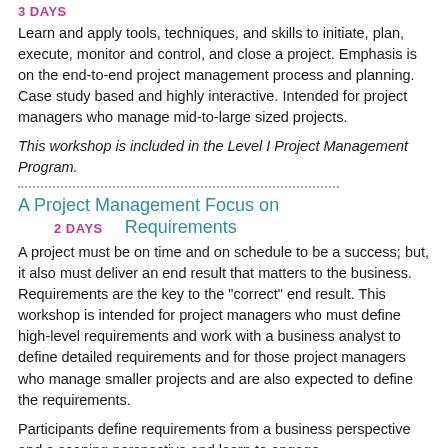3 DAYS
Learn and apply tools, techniques, and skills to initiate, plan, execute, monitor and control, and close a project. Emphasis is on the end-to-end project management process and planning. Case study based and highly interactive. Intended for project managers who manage mid-to-large sized projects.
This workshop is included in the Level I Project Management Program.
A Project Management Focus on 2 DAYS Requirements
A project must be on time and on schedule to be a success; but, it also must deliver an end result that matters to the business. Requirements are the key to the "correct" end result. This workshop is intended for project managers who must define high-level requirements and work with a business analyst to define detailed requirements and for those project managers who manage smaller projects and are also expected to define the requirements.
Participants define requirements from a business perspective and a scoping perspective and learn to engage